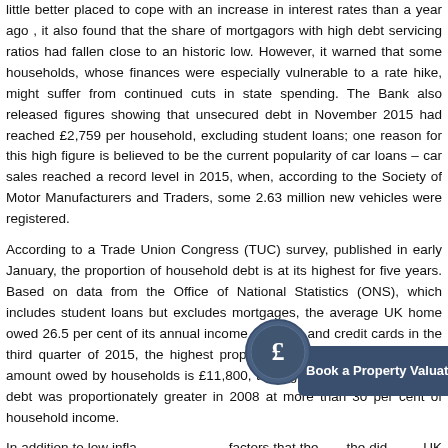little better placed to cope with an increase in interest rates than a year ago , it also found that the share of mortgagors with high debt servicing ratios had fallen close to an historic low. However, it warned that some households, whose finances were especially vulnerable to a rate hike, might suffer from continued cuts in state spending. The Bank also released figures showing that unsecured debt in November 2015 had reached £2,759 per household, excluding student loans; one reason for this high figure is believed to be the current popularity of car loans – car sales reached a record level in 2015, when, according to the Society of Motor Manufacturers and Traders, some 2.63 million new vehicles were registered.
According to a Trade Union Congress (TUC) survey, published in early January, the proportion of household debt is at its highest for five years. Based on data from the Office of National Statistics (ONS), which includes student loans but excludes mortgages, the average UK home owed 26.5 per cent of its annual income on loans and credit cards in the third quarter of 2015, the highest proportion since 2008. The average amount owed by households is £11,800, the highest level yet. However, debt was proportionately greater in 2008 at more than 30 per cent of household income.
In addition to low infla... factors that the... the did... UK interest rates is the current strength of th... ... makes imported goods cheap. However, in early January, the ONS reported that the UK's
[Figure (infographic): A circular coin/badge icon with a pound sterling symbol (£) inside, overlapping a dark blue rounded rectangle banner reading 'Book a Property Valuation']